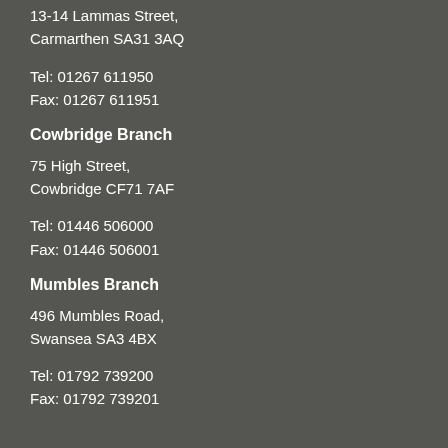13-14 Lammas Street,
Carmarthen SA31 3AQ
Tel: 01267 611950
Fax: 01267 611951
Cowbridge Branch
75 High Street,
Cowbridge CF71 7AF
Tel: 01446 506000
Fax: 01446 506001
Mumbles Branch
496 Mumbles Road,
Swansea SA3 4BX
Tel: 01792 739200
Fax: 01792 739201